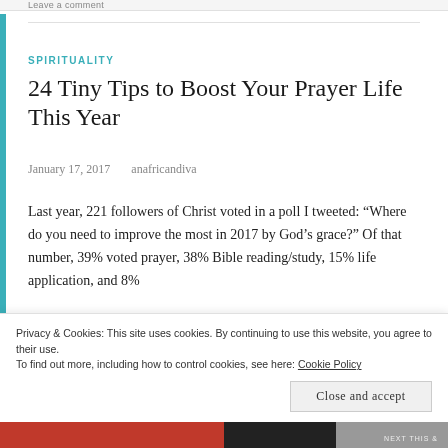Leave a comment
SPIRITUALITY
24 Tiny Tips to Boost Your Prayer Life This Year
January 17, 2017   anafricandiva
Last year, 221 followers of Christ voted in a poll I tweeted: “Where do you need to improve the most in 2017 by God’s grace?” Of that number, 39% voted prayer, 38% Bible reading/study, 15% life application, and 8%
Privacy & Cookies: This site uses cookies. By continuing to use this website, you agree to their use.
To find out more, including how to control cookies, see here: Cookie Policy
Close and accept